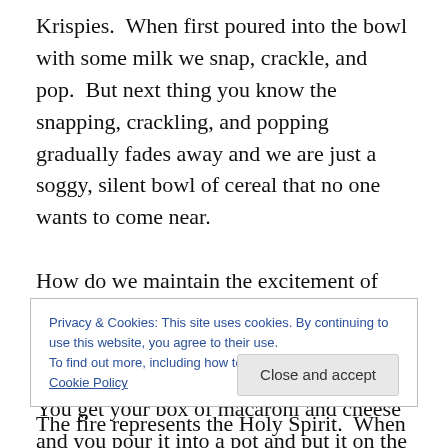Krispies. When first poured into the bowl with some milk we snap, crackle, and pop. But next thing you know the snapping, crackling, and popping gradually fades away and we are just a soggy, silent bowl of cereal that no one wants to come near.

How do we maintain the excitement of first meeting Jesus? Let's take for example that you are getting ready to fix some macaroni and cheese for dinner. You get your box of macaroni and cheese and you pour it into a pot and put it on the stove. But you don't just let it sit there, in
Privacy & Cookies: This site uses cookies. By continuing to use this website, you agree to their use.
To find out more, including how to control cookies, see here: Cookie Policy
The fire represents the Holy Spirit. When Jesus left this